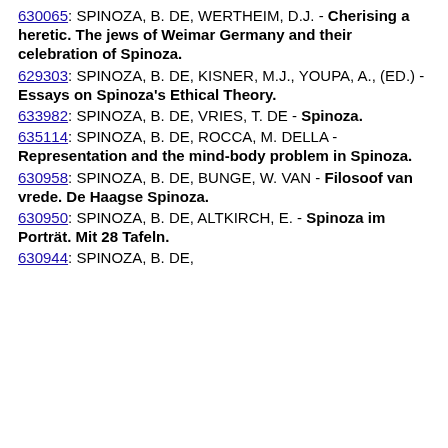630065: SPINOZA, B. DE, WERTHEIM, D.J. - Cherising a heretic. The jews of Weimar Germany and their celebration of Spinoza.
629303: SPINOZA, B. DE, KISNER, M.J., YOUPA, A., (ED.) - Essays on Spinoza's Ethical Theory.
633982: SPINOZA, B. DE, VRIES, T. DE - Spinoza.
635114: SPINOZA, B. DE, ROCCA, M. DELLA - Representation and the mind-body problem in Spinoza.
630958: SPINOZA, B. DE, BUNGE, W. VAN - Filosoof van vrede. De Haagse Spinoza.
630950: SPINOZA, B. DE, ALTKIRCH, E. - Spinoza im Porträt. Mit 28 Tafeln.
630944: SPINOZA, B. DE,